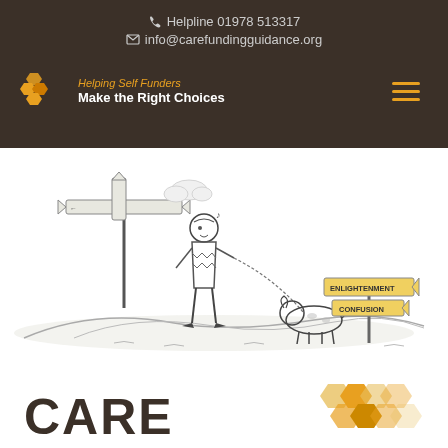Helpline 01978 513317
info@carefundingguidance.org
[Figure (logo): Care Funding Guidance logo with honeycomb hexagon shapes and tagline 'Helping Self Funders Make the Right Choices']
[Figure (illustration): Black and white cartoon illustration of a man walking a cow at a crossroads with a signpost pointing to 'ENLIGHTENMENT' and 'CONFUSION', and another signpost with directional arrows behind him]
[Figure (logo): Partial CARE logo at bottom with golden honeycomb hexagon shapes to the right, text showing 'CARE']